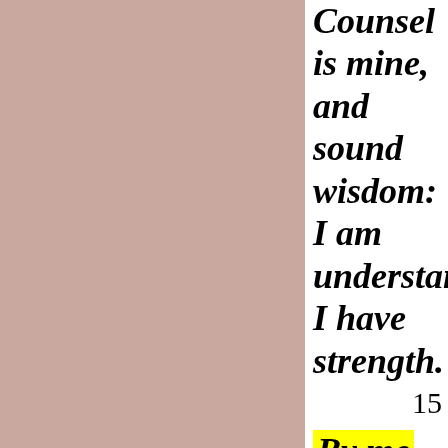[Figure (illustration): Large dusty rose/mauve pink rectangular block occupying the left portion of the page]
Counsel is mine, and sound wisdom: I am understanding I have strength. 15 By me kings
By me
kings